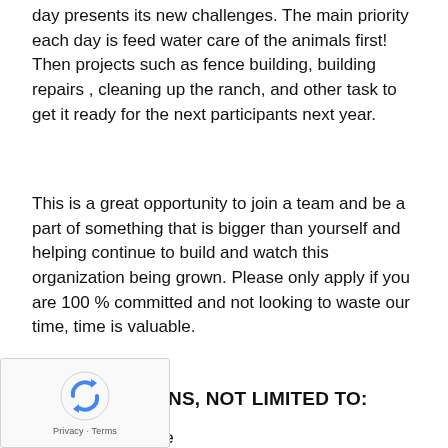day presents its new challenges. The main priority each day is feed water care of the animals first! Then projects such as fence building, building repairs , cleaning up the ranch, and other task to get it ready for the next participants next year.
This is a great opportunity to join a team and be a part of something that is bigger than yourself and helping continue to build and watch this organization being grown. Please only apply if you are 100 % committed and not looking to waste our time, time is valuable.
QUALIFICATIONS, NOT LIMITED TO:
…lving Experience